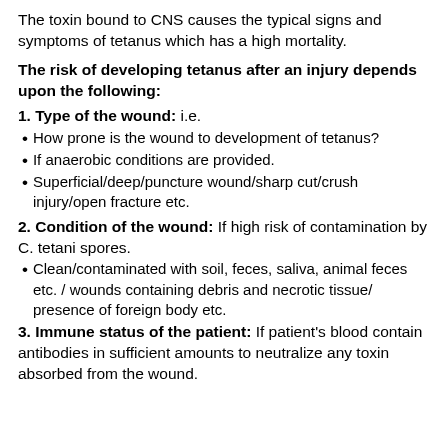The toxin bound to CNS causes the typical signs and symptoms of tetanus which has a high mortality.
The risk of developing tetanus after an injury depends upon the following:
1. Type of the wound: i.e.
How prone is the wound to development of tetanus?
If anaerobic conditions are provided.
Superficial/deep/puncture wound/sharp cut/crush injury/open fracture etc.
2. Condition of the wound: If high risk of contamination by C. tetani spores.
Clean/contaminated with soil, feces, saliva, animal feces etc. / wounds containing debris and necrotic tissue/ presence of foreign body etc.
3. Immune status of the patient: If patient's blood contain antibodies in sufficient amounts to neutralize any toxin absorbed from the wound.